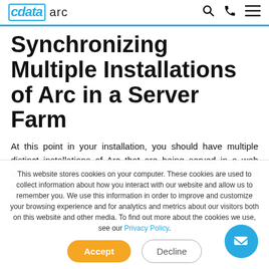cdata arc
Synchronizing Multiple Installations of Arc in a Server Farm
At this point in your installation, you should have multiple distinct installations of Arc that are being served in a web server farm. You can continue to the next steps if you wish each instance of the application to manage its own resources separately.
This website stores cookies on your computer. These cookies are used to collect information about how you interact with our website and allow us to remember you. We use this information in order to improve and customize your browsing experience and for analytics and metrics about our visitors both on this website and other media. To find out more about the cookies we use, see our Privacy Policy.
1. A data hub shared by the application instances, necessary for resources used by multiple instances.